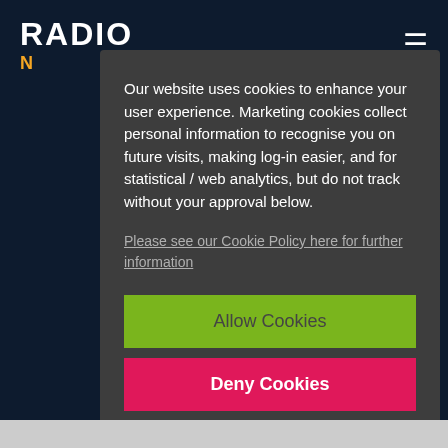[Figure (logo): Radio website logo with globe icon and navigation hamburger menu on dark navy background]
Our website uses cookies to enhance your user experience. Marketing cookies collect personal information to recognise you on future visits, making log-in easier, and for statistical / web analytics, but do not track without your approval below.
Please see our Cookie Policy here for further information
Allow Cookies
Deny Cookies